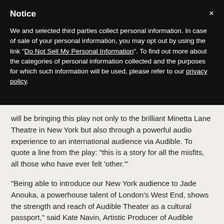Notice
We and selected third parties collect personal information. In case of sale of your personal information, you may opt out by using the link "Do Not Sell My Personal Information". To find out more about the categories of personal information collected and the purposes for which such information will be used, please refer to our privacy policy.
will be bringing this play not only to the brilliant Minetta Lane Theatre in New York but also through a powerful audio experience to an international audience via Audible. To quote a line from the play: "this is a story for all the misfits, all those who have ever felt 'other.'"
"Being able to introduce our New York audience to Jade Anouka, a powerhouse talent of London's West End, shows the strength and reach of Audible Theater as a cultural passport," said Kate Navin, Artistic Producer of Audible Theater. "Equally thrilling is the addition of this show's audio release which allows us to extend the reach of Jade's incredible work globally to listeners."